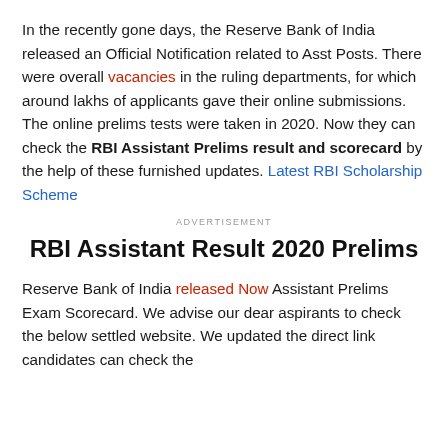In the recently gone days, the Reserve Bank of India released an Official Notification related to Asst Posts. There were overall vacancies in the ruling departments, for which around lakhs of applicants gave their online submissions. The online prelims tests were taken in 2020. Now they can check the RBI Assistant Prelims result and scorecard by the help of these furnished updates. Latest RBI Scholarship Scheme
ADVERTISEMENT
RBI Assistant Result 2020 Prelims
Reserve Bank of India released Now Assistant Prelims Exam Scorecard. We advise our dear aspirants to check the below settled website. We updated the direct link candidates can check the